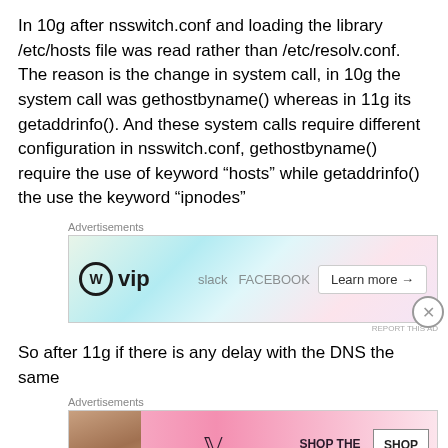In 10g after nsswitch.conf and loading the library /etc/hosts file was read rather than /etc/resolv.conf. The reason is the change in system call, in 10g the system call was gethostbyname() whereas in 11g its getaddrinfo(). And these system calls require different configuration in nsswitch.conf, gethostbyname() require the use of keyword “hosts” while getaddrinfo() the use the keyword “ipnodes”
[Figure (other): Advertisement banner for WordPress VIP showing WP logo, brand logos (Slack, Facebook), and a 'Learn more' button]
So after 11g if there is any delay with the DNS the same
[Figure (other): Advertisement banner for Victoria's Secret showing a model, VS logo, 'SHOP THE COLLECTION' text, and 'SHOP NOW' button]